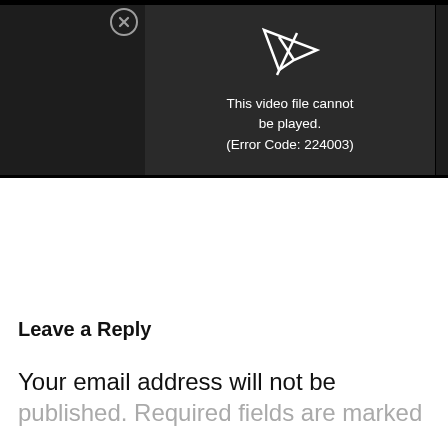[Figure (screenshot): Video player showing error: 'This video file cannot be played. (Error Code: 224003)' on a dark background with a close (X) button in the top left.]
Leave a Reply
Your email address will not be published. Required fields are marked